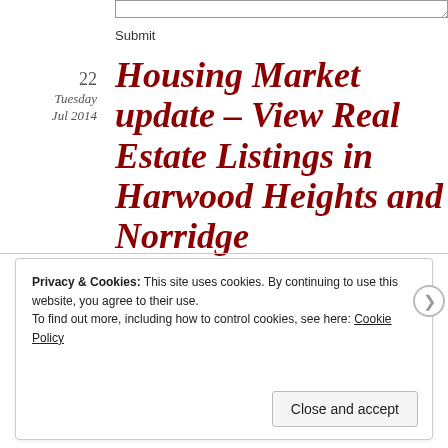Submit
Housing Market update – View Real Estate Listings in Harwood Heights and Norridge
22
Tuesday
Jul 2014
Privacy & Cookies: This site uses cookies. By continuing to use this website, you agree to their use.
To find out more, including how to control cookies, see here: Cookie Policy
Close and accept